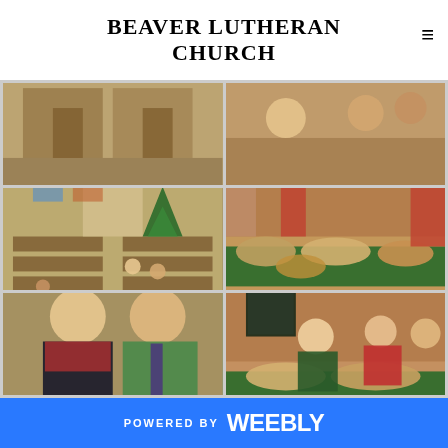BEAVER LUTHERAN CHURCH
[Figure (photo): Grid of 6 photos from Beaver Lutheran Church events: church interior, people at tables, food spread, couple portrait, congregation gatherings]
POWERED BY weebly